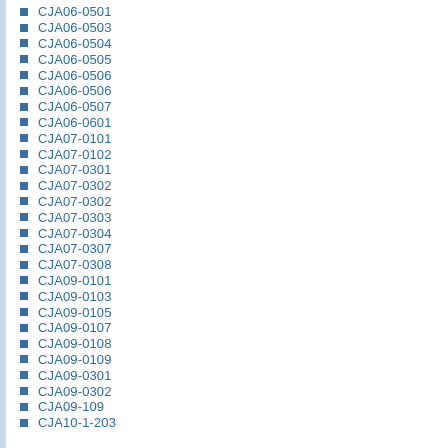CJA06-0501
CJA06-0503
CJA06-0504
CJA06-0505
CJA06-0506
CJA06-0506
CJA06-0507
CJA06-0601
CJA07-0101
CJA07-0102
CJA07-0301
CJA07-0302
CJA07-0302
CJA07-0303
CJA07-0304
CJA07-0307
CJA07-0308
CJA09-0101
CJA09-0103
CJA09-0105
CJA09-0107
CJA09-0108
CJA09-0109
CJA09-0301
CJA09-0302
CJA09-109
CJA10-1-203